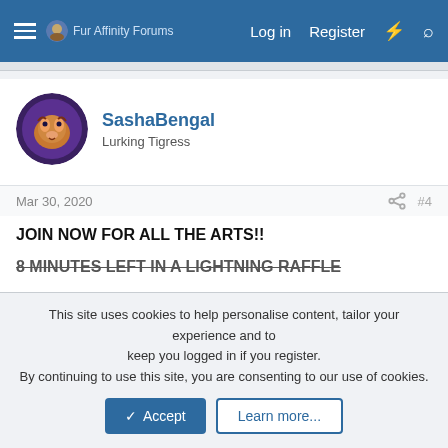Fur Affinity Forums  Log in  Register
SashaBengal
Lurking Tigress
Mar 30, 2020  #4
JOIN NOW FOR ALL THE ARTS!!
8 MINUTES LEFT IN A LIGHTNING RAFFLE (strikethrough)
23 HOURS LEFT IN A SURPRISE RAFFLE
2 DAYS LEFT IN PLANNED RAFFLE
This site uses cookies to help personalise content, tailor your experience and to keep you logged in if you register. By continuing to use this site, you are consenting to our use of cookies.